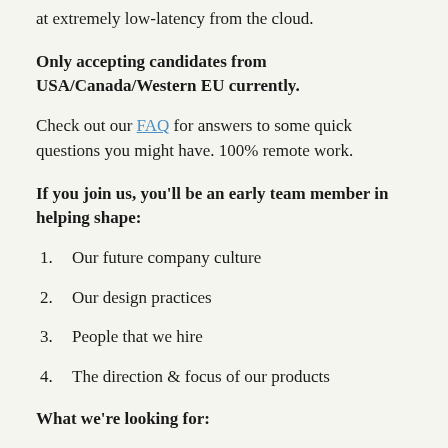at extremely low-latency from the cloud.
Only accepting candidates from USA/Canada/Western EU currently.
Check out our FAQ for answers to some quick questions you might have. 100% remote work.
If you join us, you'll be an early team member in helping shape:
Our future company culture
Our design practices
People that we hire
The direction & focus of our products
What we're looking for: